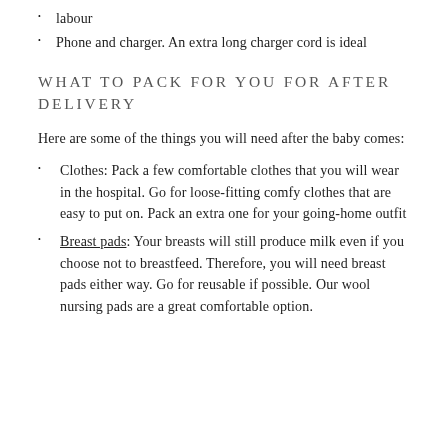labour
Phone and charger. An extra long charger cord is ideal
WHAT TO PACK FOR YOU FOR AFTER DELIVERY
Here are some of the things you will need after the baby comes:
Clothes: Pack a few comfortable clothes that you will wear in the hospital. Go for loose-fitting comfy clothes that are easy to put on. Pack an extra one for your going-home outfit
Breast pads: Your breasts will still produce milk even if you choose not to breastfeed. Therefore, you will need breast pads either way. Go for reusable if possible. Our wool nursing pads are a great comfortable option.